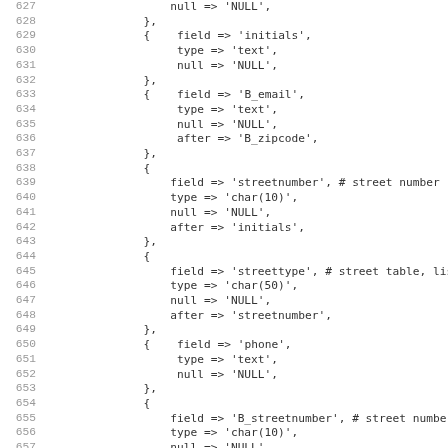Code listing lines 627-658 showing database field definitions in array format with field, type, null, and after properties